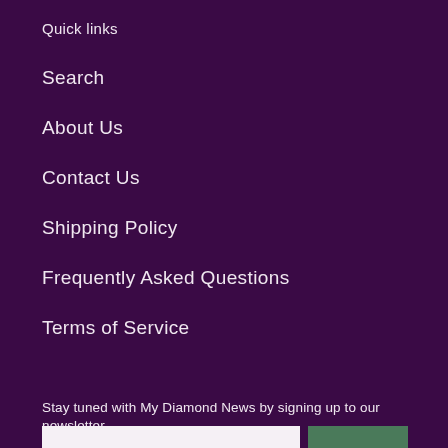Quick links
Search
About Us
Contact Us
Shipping Policy
Frequently Asked Questions
Terms of Service
Stay tuned with My Diamond News by signing up to our newsletter.